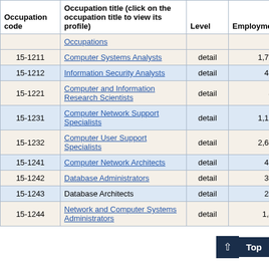| Occupation code | Occupation title (click on the occupation title to view its profile) | Level | Employment | Employment RSE |
| --- | --- | --- | --- | --- |
|  | Occupations |  |  |  |
| 15-1211 | Computer Systems Analysts | detail | 1,780 | 13 |
| 15-1212 | Information Security Analysts | detail | 400 | 13 |
| 15-1221 | Computer and Information Research Scientists | detail | 40 | 22 |
| 15-1231 | Computer Network Support Specialists | detail | 1,150 | 10 |
| 15-1232 | Computer User Support Specialists | detail | 2,610 | 6 |
| 15-1241 | Computer Network Architects | detail | 450 | 14 |
| 15-1242 | Database Administrators | detail | 310 | 17 |
| 15-1243 | Database Architects | detail | 240 | 21 |
| 15-1244 | Network and Computer Systems Administrators | detail | 1,40... |  |